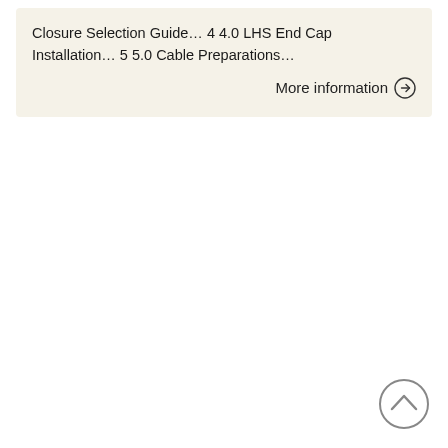Closure Selection Guide… 4 4.0 LHS End Cap Installation… 5 5.0 Cable Preparations…
More information →
[Figure (other): Back to top button — circle with upward-pointing chevron arrow]